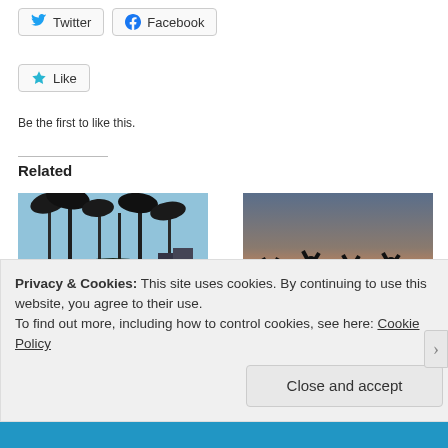[Figure (other): Twitter share button with bird icon]
[Figure (other): Facebook share button with Facebook icon]
[Figure (other): Like button with blue star icon]
Be the first to like this.
Related
[Figure (photo): Photo of palm trees against blue sky – L.A. Day 3 & 4]
L.A. Day 3 & 4
January 22, 2014
[Figure (photo): Photo of silhouettes against sunset sky – Today is a grey day in L.A. (but Day 9 wasn't).]
Today is a grey day in L.A. (but Day 9 wasn't).
Privacy & Cookies: This site uses cookies. By continuing to use this website, you agree to their use.
To find out more, including how to control cookies, see here: Cookie Policy
Close and accept